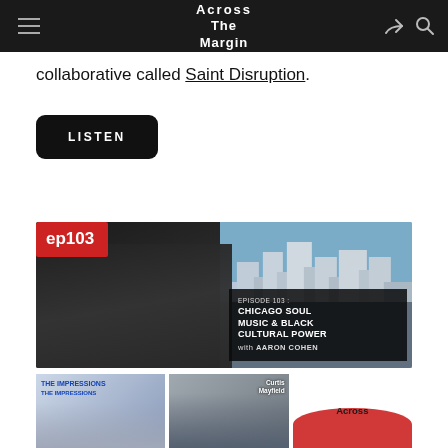Across The Margin
collaborative called Saint Disruption.
LISTEN
[Figure (screenshot): Episode 103 thumbnail image showing a musician performing with a guitar in black and white on the left, a city skyline (Chicago) on the right, with a red 'ep103' badge in the top left and an overlay text box reading 'EPISODE 103 : CHICAGO SOUL MUSIC & BLACK CULTURAL POWER with AARON COHEN']
[Figure (screenshot): Three thumbnail images at the bottom: The Impressions album cover on the left, Curtis Mayfield performing in the center, and Across The Margin logo on the right]